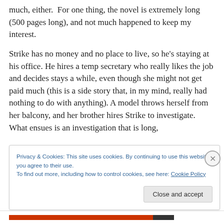much, either. For one thing, the novel is extremely long (500 pages long), and not much happened to keep my interest.
Strike has no money and no place to live, so he's staying at his office. He hires a temp secretary who really likes the job and decides stays a while, even though she might not get paid much (this is a side story that, in my mind, really had nothing to do with anything). A model throws herself from her balcony, and her brother hires Strike to investigate. What ensues is an investigation that is long,
Privacy & Cookies: This site uses cookies. By continuing to use this website, you agree to their use.
To find out more, including how to control cookies, see here: Cookie Policy